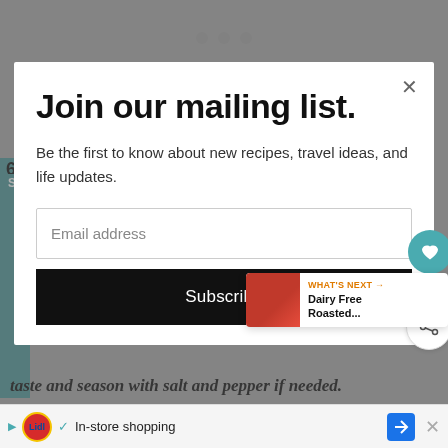Join our mailing list.
Be the first to know about new recipes, travel ideas, and life updates.
Email address
Subscribe
6.1K
WHAT'S NEXT → Dairy Free Roasted...
taste and season with salt and pepper if needed.
In-store shopping